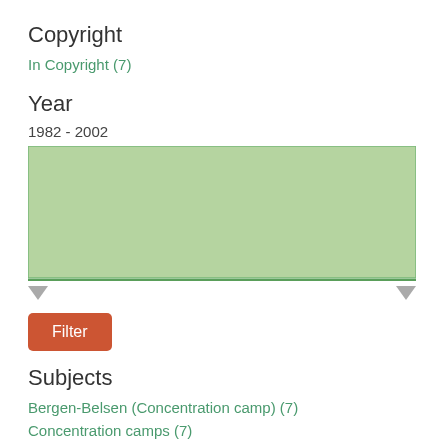Copyright
In Copyright (7)
Year
1982 - 2002
[Figure (other): Year range slider with green filled area between 1982 and 2002, horizontal green line below, and two gray triangle handles at each end]
Filter
Subjects
Bergen-Belsen (Concentration camp) (7)
Concentration camps (7)